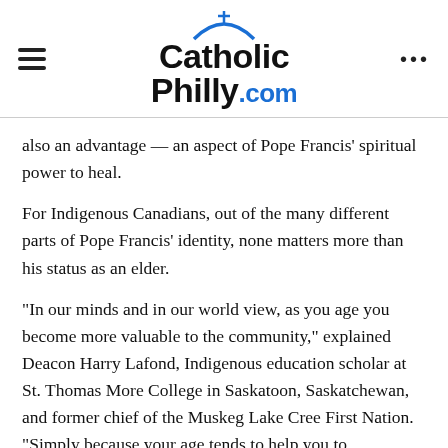CatholicPhilly.com
also an advantage — an aspect of Pope Francis' spiritual power to heal.
For Indigenous Canadians, out of the many different parts of Pope Francis' identity, none matters more than his status as an elder.
“In our minds and in our world view, as you age you become more valuable to the community,” explained Deacon Harry Lafond, Indigenous education scholar at St. Thomas More College in Saskatoon, Saskatchewan, and former chief of the Muskeg Lake Cree First Nation. “Simply because your age tends to help you to understand life from a different perspective. You bring that to the generations that are following